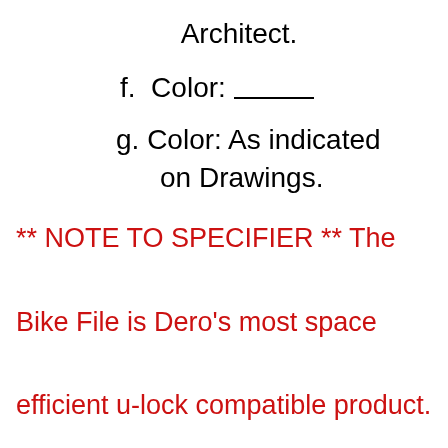Architect.
f.  Color: ______
g. Color: As indicated on Drawings.
** NOTE TO SPECIFIER ** The Bike File is Dero's most space efficient u-lock compatible product. Sturdy sliding hangers allow nine bikes to be securely stored in an